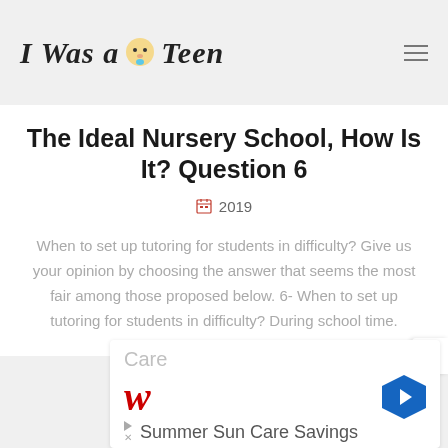I Was a Teen
The Ideal Nursery School, How Is It? Question 6
2019
When to set up tutoring for students in difficulty? Give us your opinion by choosing the answer that seems the most fair among those proposed below. 6- When to set up tutoring for students in difficulty? During school time.
[Figure (other): Advertisement banner for Walgreens Summer Sun Care Savings with Care text and navigation icon]